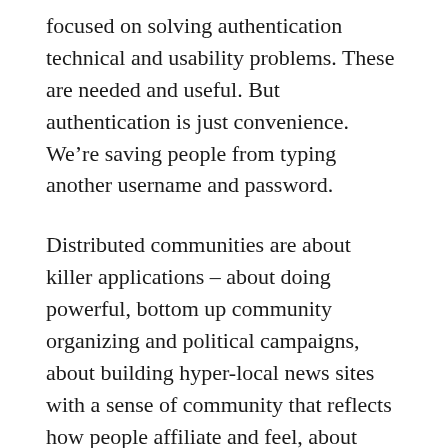focused on solving authentication technical and usability problems. These are needed and useful. But authentication is just convenience. We're saving people from typing another username and password.
Distributed communities are about killer applications – about doing powerful, bottom up community organizing and political campaigns, about building hyper-local news sites with a sense of community that reflects how people affiliate and feel, about enabling networks of people who engage with music, sports, gardening, some sort of culture. I'm really eager to see progress at the functional end of the stack – the standards and sample